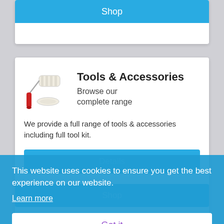Shop
Tools & Accessories
Browse our complete range
We provide a full range of tools & accessories including full tool kit.
Details
Shop
This website uses cookies to ensure you get the best experience on our website.
Learn more
Got it